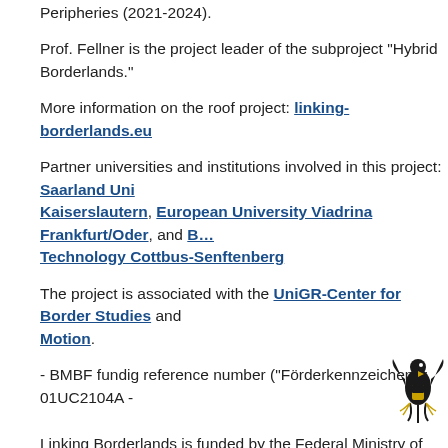Peripheries (2021-2024).
Prof. Fellner is the project leader of the subproject "Hybrid Borderlands."
More information on the roof project: linking-borderlands.eu
Partner universities and institutions involved in this project: Saarland University Kaiserslautern, European University Viadrina Frankfurt/Oder, and Brandenburg University of Technology Cottbus-Senftenberg
The project is associated with the UniGR-Center for Border Studies and Motion.
- BMBF fundig reference number ("Förderkennzeichen"): 01UC2104A -
Linking Borderlands is funded by the Federal Ministry of Education and Research (BMBF)
[Figure (logo): German Federal Eagle logo (Bundesadler)]